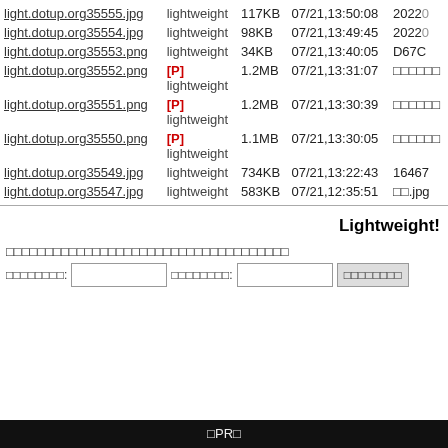| filename | type | size | date | info |
| --- | --- | --- | --- | --- |
| light.dotup.org35555.jpg | lightweight | 117KB | 07/21,13:50:08 | 20220... |
| light.dotup.org35554.jpg | lightweight | 98KB | 07/21,13:49:45 | 20220... |
| light.dotup.org35553.png | lightweight | 34KB | 07/21,13:40:05 | D67C... |
| light.dotup.org35552.png | [P] lightweight | 1.2MB | 07/21,13:31:07 | □□□□□□... |
| light.dotup.org35551.png | [P] lightweight | 1.2MB | 07/21,13:30:39 | □□□□□□... |
| light.dotup.org35550.png | [P] lightweight | 1.1MB | 07/21,13:30:05 | □□□□□□... |
| light.dotup.org35549.jpg | lightweight | 734KB | 07/21,13:22:43 | 16467... |
| light.dotup.org35547.jpg | lightweight | 583KB | 07/21,12:35:51 | □□.jpg |
Lightweight!
□□□□□□□□□□□□□□□□□□□□□□□□□□□□□□□□□□□□
□□□□□□□□: [input] □□□□□□□□: [input] [□□□□□□□□]
□PR□